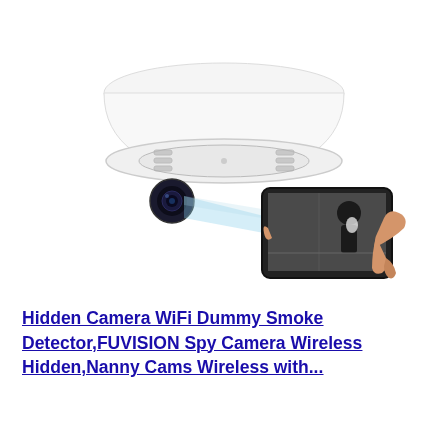[Figure (photo): A smoke detector hidden camera product photo showing a white dome-shaped smoke detector mounted on a ceiling, with a hidden camera lens visible at its base projecting a blue light beam toward a smartphone screen showing a surveillance camera view of a person in a room.]
Hidden Camera WiFi Dummy Smoke Detector,FUVISION Spy Camera Wireless Hidden,Nanny Cams Wireless with...